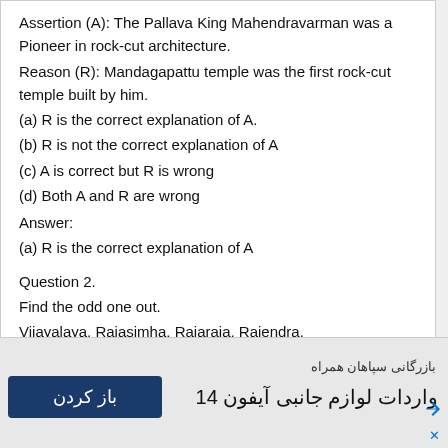Assertion (A): The Pallava King Mahendravarman was a Pioneer in rock-cut architecture.
Reason (R): Mandagapattu temple was the first rock-cut temple built by him.
(a) R is the correct explanation of A.
(b) R is not the correct explanation of A
(c) A is correct but R is wrong
(d) Both A and R are wrong
Answer:
(a) R is the correct explanation of A
Question 2.
Find the odd one out.
Vijayalaya, Rajasimha, Rajaraja, Rajendra.
Answer:
Rajasimha
[Figure (infographic): Advertisement bar in Persian/Farsi for iPhone 14 accessories with a dark blue button labeled 'باز کردن' (Open)]